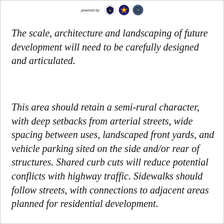powered by: [logos]
The scale, architecture and landscaping of future development will need to be carefully designed and articulated.
This area should retain a semi-rural character, with deep setbacks from arterial streets, wide spacing between uses, landscaped front yards, and vehicle parking sited on the side and/or rear of structures. Shared curb cuts will reduce potential conflicts with highway traffic. Sidewalks should follow streets, with connections to adjacent areas planned for residential development.